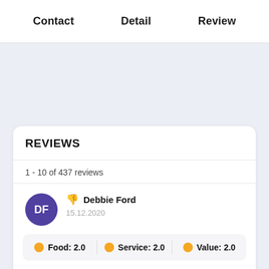Contact   Detail   Review
REVIEWS
1 - 10 of 437 reviews
👎 Debbie Ford
15.12.2020
Food: 2.0   Service: 2.0   Value: 2.0
This is the worst Krispy Kreme!! I ordered online a month ago the